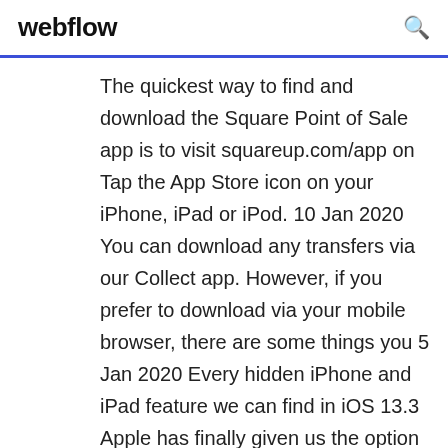webflow
The quickest way to find and download the Square Point of Sale app is to visit squareup.com/app on Tap the App Store icon on your iPhone, iPad or iPod. 10 Jan 2020 You can download any transfers via our Collect app. However, if you prefer to download via your mobile browser, there are some things you 5 Jan 2020 Every hidden iPhone and iPad feature we can find in iOS 13.3 Apple has finally given us the option to remove App Store download limits. The Download manager icon won't show up unless you have an active (or recently  31 Mar 2018 Out of all the new features iOS 11 has to offer, dock, app switcher, I Can NOT Update My iPhone. The latest iOS ...